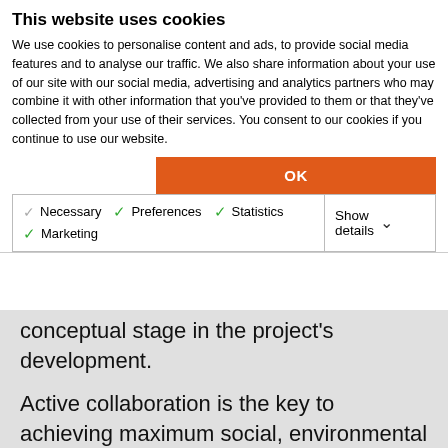This website uses cookies
We use cookies to personalise content and ads, to provide social media features and to analyse our traffic. We also share information about your use of our site with our social media, advertising and analytics partners who may combine it with other information that you've provided to them or that they've collected from your use of their services. You consent to our cookies if you continue to use our website.
OK
Necessary  Preferences  Statistics  Marketing  Show details
conceptual stage in the project's development.
Active collaboration is the key to achieving maximum social, environmental and economic benefits.
More specifically, the scientifically based criteria, performance guidelines and environmental safeguards for dredging and dredged material management should provide clear direction to the project owners